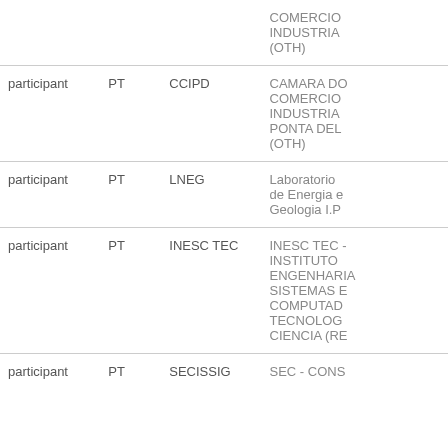| Role | Country | Short Name | Full Name |
| --- | --- | --- | --- |
|  |  |  | COMERCIO INDUSTRIA (OTH) |
| participant | PT | CCIPD | CAMARA DO COMERCIO INDUSTRIA PONTA DEL (OTH) |
| participant | PT | LNEG | Laboratorio de Energia e Geologia I.P |
| participant | PT | INESC TEC | INESC TEC - INSTITUTO ENGENHARIA SISTEMAS E COMPUTAD TECNOLOG CIENCIA (RE |
| participant | PT | SECISSIG | SEC - CONS |